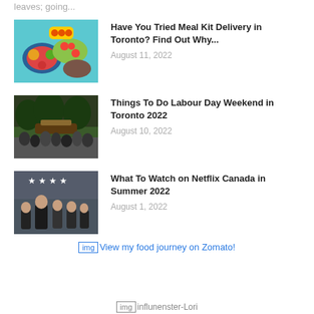leaves; going...
Have You Tried Meal Kit Delivery in Toronto? Find Out Why...
August 11, 2022
Things To Do Labour Day Weekend in Toronto 2022
August 10, 2022
What To Watch on Netflix Canada in Summer 2022
August 1, 2022
[img]View my food journey on Zomato!
[img]influnenster-Lori